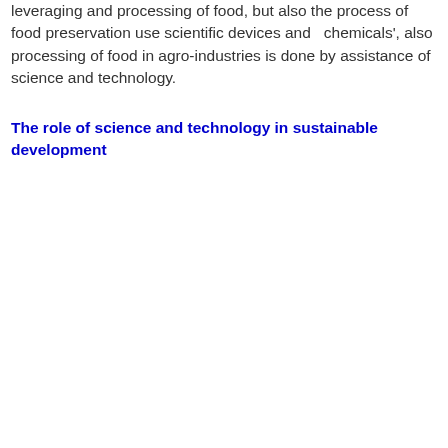leveraging and processing of food, but also the process of food preservation use scientific devices and   chemicals', also processing of food in agro-industries is done by assistance of science and technology.
The role of science and technology in sustainable development